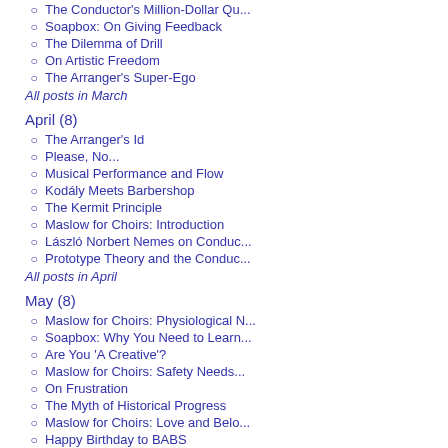The Conductor's Million-Dollar Qu...
Soapbox: On Giving Feedback
The Dilemma of Drill
On Artistic Freedom
The Arranger's Super-Ego
All posts in March
April (8)
The Arranger's Id
Please, No...
Musical Performance and Flow
Kodály Meets Barbershop
The Kermit Principle
Maslow for Choirs: Introduction
László Norbert Nemes on Conduc...
Prototype Theory and the Conduc...
All posts in April
May (8)
Maslow for Choirs: Physiological N...
Soapbox: Why You Need to Learn...
Are You 'A Creative'?
Maslow for Choirs: Safety Needs...
On Frustration
The Myth of Historical Progress
Maslow for Choirs: Love and Belo...
Happy Birthday to BABS
All posts in May
June (7)